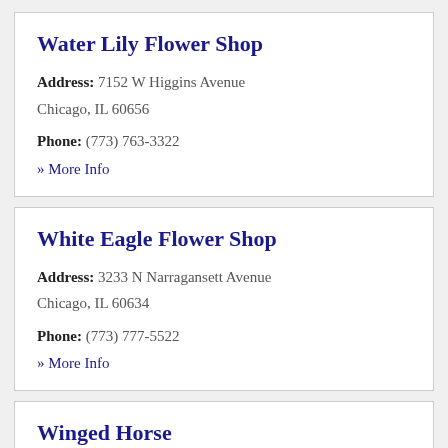Water Lily Flower Shop
Address: 7152 W Higgins Avenue Chicago, IL 60656
Phone: (773) 763-3322
» More Info
White Eagle Flower Shop
Address: 3233 N Narragansett Avenue Chicago, IL 60634
Phone: (773) 777-5522
» More Info
Winged Horse